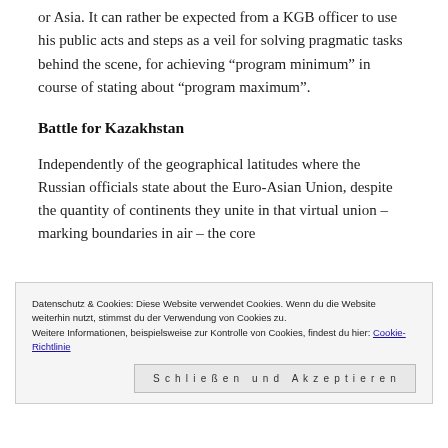or Asia. It can rather be expected from a KGB officer to use his public acts and steps as a veil for solving pragmatic tasks behind the scene, for achieving “program minimum” in course of stating about “program maximum”.
Battle for Kazakhstan
Independently of the geographical latitudes where the Russian officials state about the Euro-Asian Union, despite the quantity of continents they unite in that virtual union – marking boundaries in air – the core
Datenschutz & Cookies: Diese Website verwendet Cookies. Wenn du die Website weiterhin nutzt, stimmst du der Verwendung von Cookies zu.
Weitere Informationen, beispielsweise zur Kontrolle von Cookies, findest du hier: Cookie-Richtlinie
Schließen und Akzeptieren